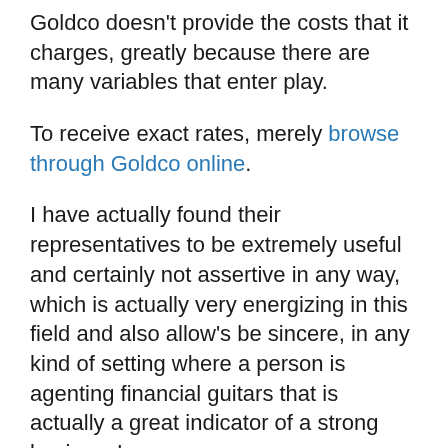Goldco doesn't provide the costs that it charges, greatly because there are many variables that enter play.
To receive exact rates, merely browse through Goldco online.
I have actually found their representatives to be extremely useful and certainly not assertive in any way, which is actually very energizing in this field and also allow's be sincere, in any kind of setting where a person is agenting financial guitars that is actually a great indicator of a strong business!
What I can claim from very first hand know-how is that the highly recommended